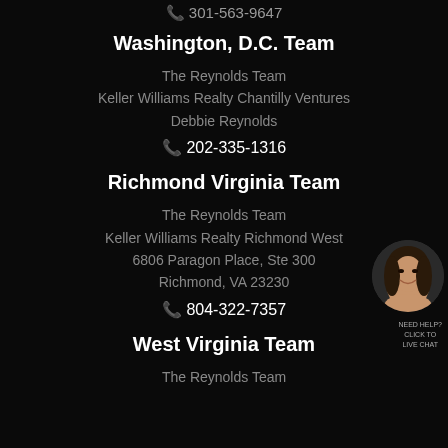301-563-9647
Washington, D.C. Team
The Reynolds Team
Keller Williams Realty Chantilly Ventures
Debbie Reynolds
202-335-1316
Richmond Virginia Team
The Reynolds Team
Keller Williams Realty Richmond West
6806 Paragon Place, Ste 300
Richmond, VA 23230
804-322-7357
West Virginia Team
The Reynolds Team
[Figure (photo): Circular headshot photo of a smiling woman with dark hair, positioned to the right side of the page near the Richmond Virginia Team section]